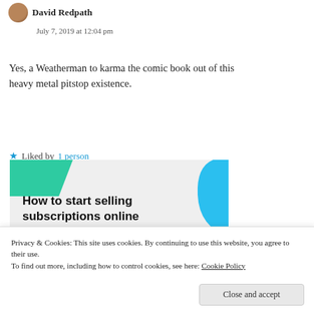David Redpath
July 7, 2019 at 12:04 pm
Yes, a Weatherman to karma the comic book out of this heavy metal pitstop existence.
★ Liked by 1 person
[Figure (illustration): Advertisement banner: 'How to start selling subscriptions online' with green and blue geometric shapes and a purple button]
Privacy & Cookies: This site uses cookies. By continuing to use this website, you agree to their use. To find out more, including how to control cookies, see here: Cookie Policy
Close and accept